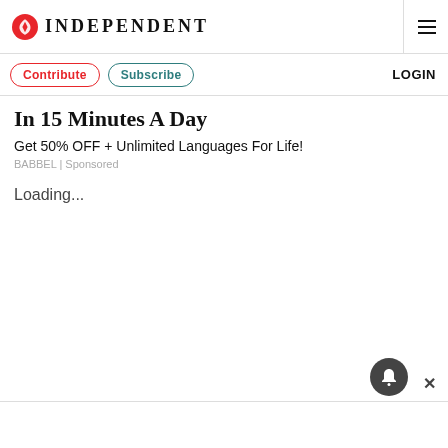INDEPENDENT
Contribute  Subscribe  LOGIN
In 15 Minutes A Day
Get 50% OFF + Unlimited Languages For Life!
BABBEL | Sponsored
Loading...